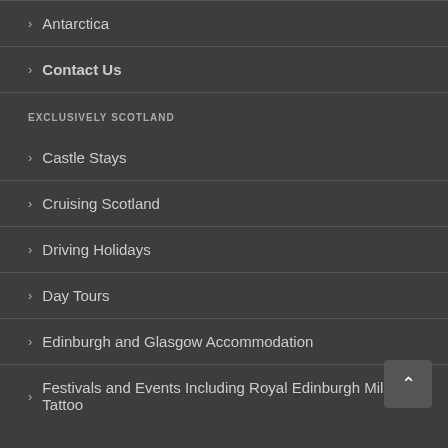Antarctica
Contact Us
EXCLUSIVELY SCOTLAND
Castle Stays
Cruising Scotland
Driving Holidays
Day Tours
Edinburgh and Glasgow Accommodation
Festivals and Events Including Royal Edinburgh Military Tattoo